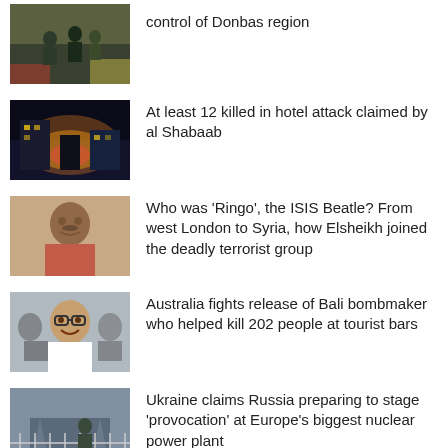control of Donbas region
At least 12 killed in hotel attack claimed by al Shabaab
Who was ‘Ringo’, the ISIS Beatle? From west London to Syria, how Elsheikh joined the deadly terrorist group
Australia fights release of Bali bombmaker who helped kill 202 people at tourist bars
Ukraine claims Russia preparing to stage ‘provocation’ at Europe’s biggest nuclear power plant
‘Idiot’ surfers spark outrage after speeding